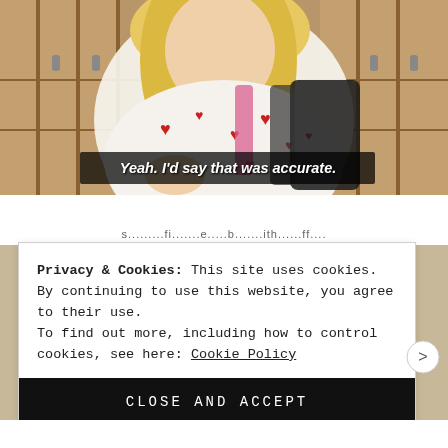[Figure (screenshot): Screenshot of a TV show still featuring a blonde woman wearing a white top with red heart pattern and a dark backpack, standing in front of school lockers. White subtitle text on dark background reads: Yeah. I'd say that was accurate.]
Privacy & Cookies: This site uses cookies. By continuing to use this website, you agree to their use.
To find out more, including how to control cookies, see here: Cookie Policy
CLOSE AND ACCEPT